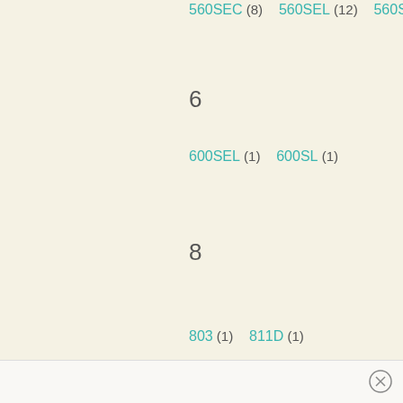560SEC (8)   560SEL (12)   560SL
6
600SEL (1)   600SL (1)
8
803 (1)   811D (1)